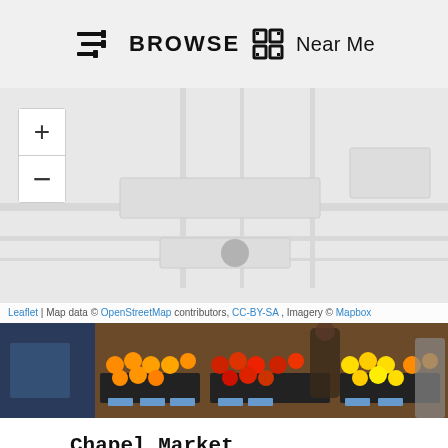BROWSE  Near Me
[Figure (map): Interactive map with zoom controls (+/-) showing a street map view. Map credits: Leaflet | Map data © OpenStreetMap contributors, CC-BY-SA, Imagery © Mapbox]
[Figure (photo): Street market scene showing colourful fruit and vegetable stalls with oranges, tomatoes and other produce on display]
Chapel Market
Chapel Market is a daily street market in London. The market is located on a street of the same name near Angel, and sells fruit, vegetables and fish, as well as bargain household goods and cheap clothes.